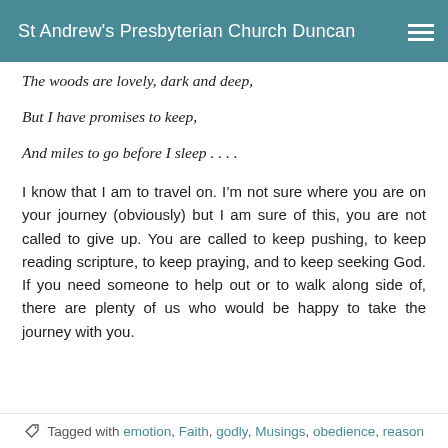St Andrew's Presbyterian Church Duncan
The woods are lovely, dark and deep,
But I have promises to keep,
And miles to go before I sleep . . . .
I know that I am to travel on. I’m not sure where you are on your journey (obviously) but I am sure of this, you are not called to give up. You are called to keep pushing, to keep reading scripture, to keep praying, and to keep seeking God. If you need someone to help out or to walk along side of, there are plenty of us who would be happy to take the journey with you.
Tagged with emotion, Faith, godly, Musings, obedience, reason